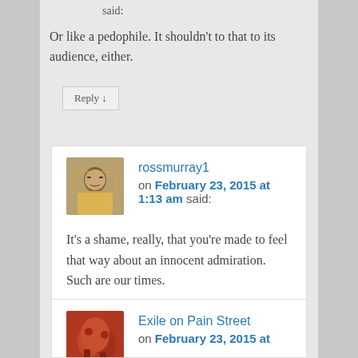said:
Or like a pedophile. It shouldn't to that to its audience, either.
Reply ↓
rossmurray1 on February 23, 2015 at 1:13 am said:
It's a shame, really, that you're made to feel that way about an innocent admiration. Such are our times.
Exile on Pain Street on February 23, 2015 at